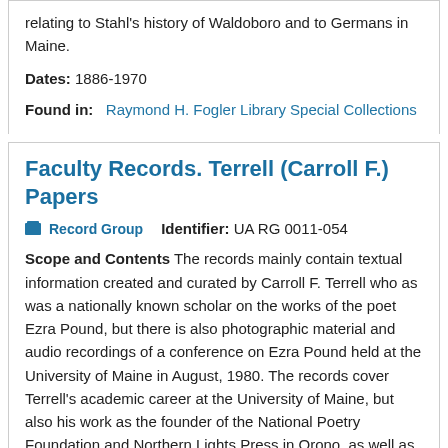relating to Stahl's history of Waldoboro and to Germans in Maine.
Dates: 1886-1970
Found in:  Raymond H. Fogler Library Special Collections
Faculty Records. Terrell (Carroll F.) Papers
Record Group    Identifier: UA RG 0011-054
Scope and Contents The records mainly contain textual information created and curated by Carroll F. Terrell who as was a nationally known scholar on the works of the poet Ezra Pound, but there is also photographic material and audio recordings of a conference on Ezra Pound held at the University of Maine in August, 1980. The records cover Terrell's academic career at the University of Maine, but also his work as the founder of the National Poetry Foundation and Northern Lights Press in Orono, as well as editor...